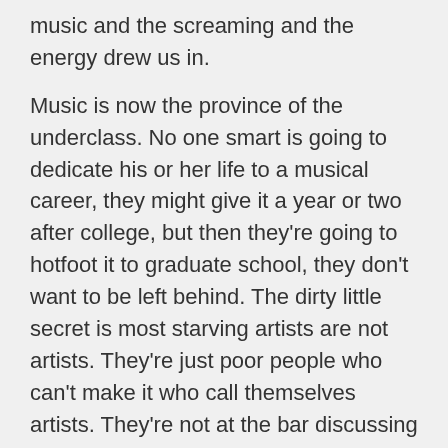music and the screaming and the energy drew us in.
Music is now the province of the underclass. No one smart is going to dedicate his or her life to a musical career, they might give it a year or two after college, but then they're going to hotfoot it to graduate school, they don't want to be left behind. The dirty little secret is most starving artists are not artists. They're just poor people who can't make it who call themselves artists. They're not at the bar discussing Camus, they're on the couch watching the Kardashians wondering why someone won't pay them.
So you're not gonna get a revolution from the poor people who do gain notoriety in the music business. Because first and foremost they need the money! This is their way out!
As for the business men who came to the top? No...